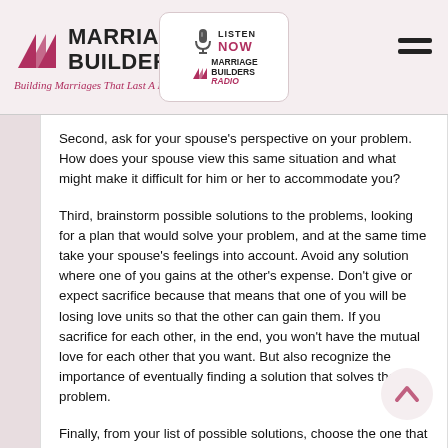Marriage Builders — Building Marriages That Last A Lifetime
Second, ask for your spouse's perspective on your problem. How does your spouse view this same situation and what might make it difficult for him or her to accommodate you?
Third, brainstorm possible solutions to the problems, looking for a plan that would solve your problem, and at the same time take your spouse's feelings into account. Avoid any solution where one of you gains at the other's expense. Don't give or expect sacrifice because that means that one of you will be losing love units so that the other can gain them. If you sacrifice for each other, in the end, you won't have the mutual love for each other that you want. But also recognize the importance of eventually finding a solution that solves the problem.
Finally, from your list of possible solutions, choose the one that has the enthusiastic agreement of both you and your